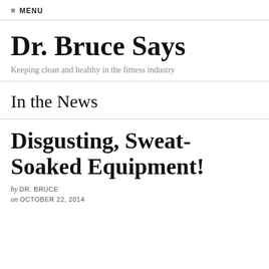≡ MENU
Dr. Bruce Says
Keeping clean and healthy in the fitness industry
In the News
Disgusting, Sweat-Soaked Equipment!
by DR. BRUCE
on OCTOBER 22, 2014